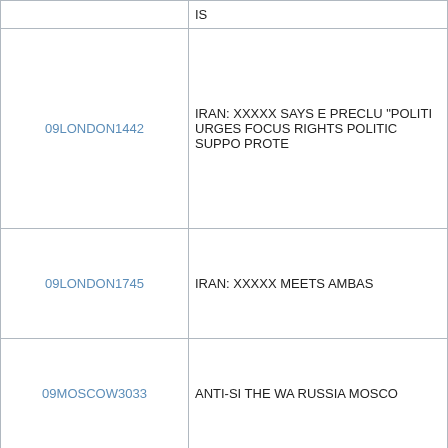| ID | Description |
| --- | --- |
|  | IS |
| 09LONDON1442 | IRAN: XXXXX SAYS E PRECLU "POLITI URGES FOCUS RIGHTS POLITIC SUPPO PROTE |
| 09LONDON1745 | IRAN: XXXXX MEETS AMBAS |
| 09MOSCOW3033 | ANTI-SI THE WA RUSSIA MOSCO |